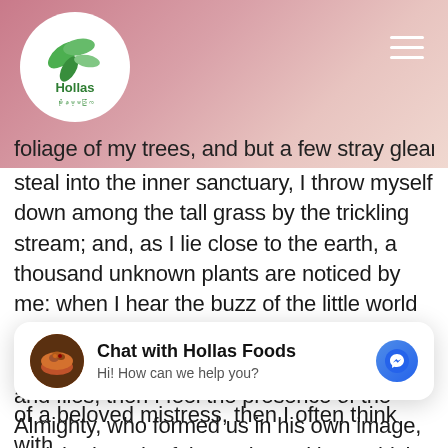[Figure (logo): Hollas Foods logo — green leaf design in a white circle with brand name 'Hollas' in green text]
foliage of my trees, and but a few stray gleams steal into the inner sanctuary, I throw myself down among the tall grass by the trickling stream; and, as I lie close to the earth, a thousand unknown plants are noticed by me: when I hear the buzz of the little world among the stalks, and grow familiar with the countless indescribable forms of the insects and flies, then I feel the presence of the Almighty, who formed us in his own image, and the breath of that universal love which bears and sustains us, as it floats around us in an eternity of bliss; and
[Figure (screenshot): Chat widget: 'Chat with Hollas Foods' with avatar image of food/bowl, subtitle 'Hi! How can we help you?' and Facebook Messenger blue circle button]
of a beloved mistress, then I often think with